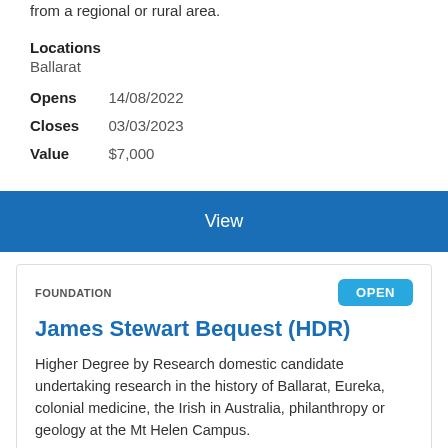from a regional or rural area.
Locations
Ballarat
Opens  14/08/2022
Closes  03/03/2023
Value   $7,000
View
FOUNDATION
OPEN
James Stewart Bequest (HDR)
Higher Degree by Research domestic candidate undertaking research in the history of Ballarat, Eureka, colonial medicine, the Irish in Australia, philanthropy or geology at the Mt Helen Campus.